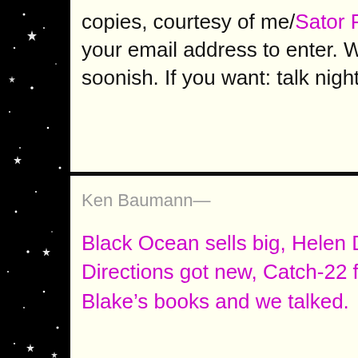copies, courtesy of me/Sator Pres… your email address to enter. Winn… soonish. If you want: talk nightma…
Ken Baumann—
Black Ocean sells big, Helen DeWi… Directions got new, Catch-22 fou… Blake's books and we talked.